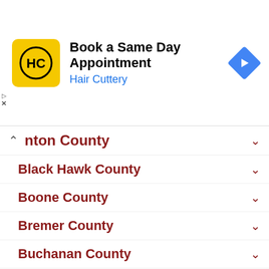[Figure (screenshot): Hair Cuttery advertisement banner: yellow square logo with HC initials, text 'Book a Same Day Appointment / Hair Cuttery' in black and blue, blue diamond navigation arrow icon on right]
nton County
Black Hawk County
Boone County
Bremer County
Buchanan County
Buena Vista County
Butler County
Calhoun County
Carroll County
Cass County